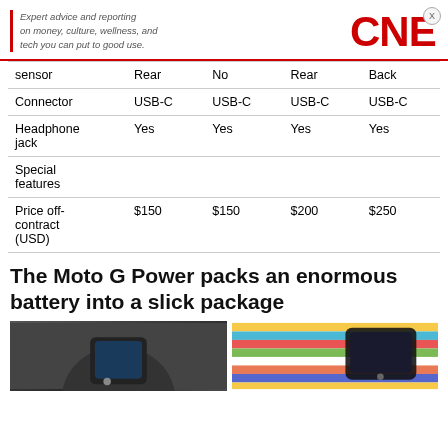Expert advice and reporting on money, culture, wellness, and tech you can put to good use. CNET
|  | Col1 | Col2 | Col3 | Col4 |
| --- | --- | --- | --- | --- |
| sensor | Rear | No | Rear | Back |
| Connector | USB-C | USB-C | USB-C | USB-C |
| Headphone jack | Yes | Yes | Yes | Yes |
| Special features |  |  |  |  |
| Price off-contract (USD) | $150 | $150 | $200 | $250 |
The Moto G Power packs an enormous battery into a slick package
[Figure (photo): Two photos of the Moto G Power smartphone]